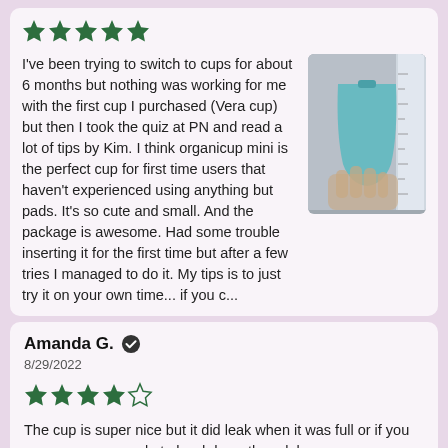[Figure (other): Five green filled stars rating]
I've been trying to switch to cups for about 6 months but nothing was working for me with the first cup I purchased (Vera cup) but then I took the quiz at PN and read a lot of tips by Kim. I think organicup mini is the perfect cup for first time users that haven't experienced using anything but pads. It's so cute and small. And the package is awesome. Had some trouble inserting it for the first time but after a few tries I managed to do it.  My tips is to just try it on your own time... if you c...
[Figure (photo): Photo of a hand holding a menstrual cup near a ruler/measurement guide]
Amanda G.
8/29/2022
[Figure (other): Four green filled stars and one empty star rating (4 out of 5)]
The cup is super nice but it did leak when it was full or if you squeeze any muscle to hard down there lol. ll...